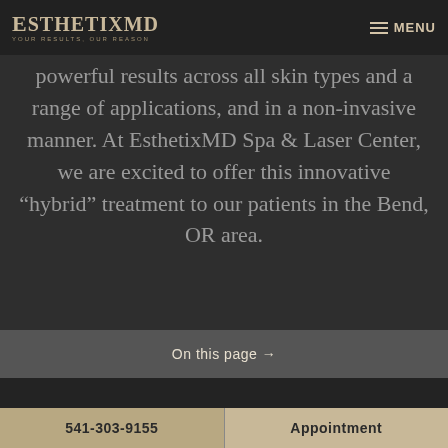EsthetixMD — YOUR RESULTS, OUR REASON | MENU
powerful results across all skin types and a range of applications, and in a non-invasive manner. At EsthetixMD Spa & Laser Center, we are excited to offer this innovative "hybrid" treatment to our patients in the Bend, OR area.
On this page →
541-303-9155 | Appointment